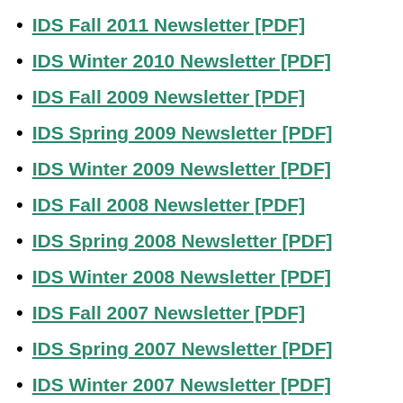IDS Fall 2011 Newsletter [PDF]
IDS Winter 2010 Newsletter [PDF]
IDS Fall 2009 Newsletter [PDF]
IDS Spring 2009 Newsletter [PDF]
IDS Winter 2009 Newsletter [PDF]
IDS Fall 2008 Newsletter [PDF]
IDS Spring 2008 Newsletter [PDF]
IDS Winter 2008 Newsletter [PDF]
IDS Fall 2007 Newsletter [PDF]
IDS Spring 2007 Newsletter [PDF]
IDS Winter 2007 Newsletter [PDF]